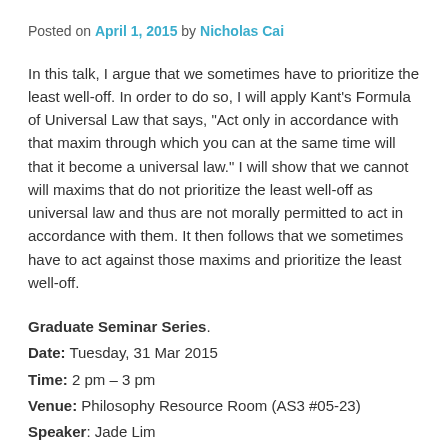Posted on April 1, 2015 by Nicholas Cai
In this talk, I argue that we sometimes have to prioritize the least well-off. In order to do so, I will apply Kant’s Formula of Universal Law that says, “Act only in accordance with that maxim through which you can at the same time will that it become a universal law.” I will show that we cannot will maxims that do not prioritize the least well-off as universal law and thus are not morally permitted to act in accordance with them. It then follows that we sometimes have to act against those maxims and prioritize the least well-off.
Graduate Seminar Series.
Date: Tuesday, 31 Mar 2015
Time: 2 pm – 3 pm
Venue: Philosophy Resource Room (AS3 #05-23)
Speaker: Jade Lim
Moderator: Koh Hui Li
About the Speaker: